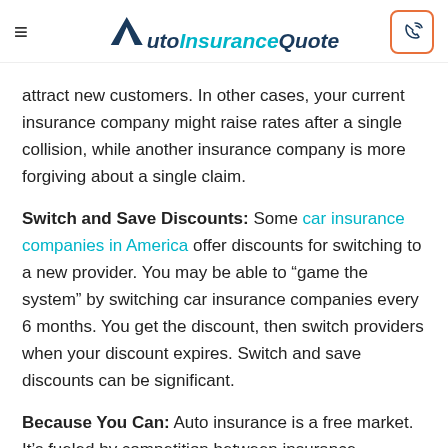AutoInsuranceQuote
attract new customers. In other cases, your current insurance company might raise rates after a single collision, while another insurance company is more forgiving about a single claim.
Switch and Save Discounts: Some car insurance companies in America offer discounts for switching to a new provider. You may be able to “game the system” by switching car insurance companies every 6 months. You get the discount, then switch providers when your discount expires. Switch and save discounts can be significant.
Because You Can: Auto insurance is a free market. It’s fueled by competition between insurance companies.